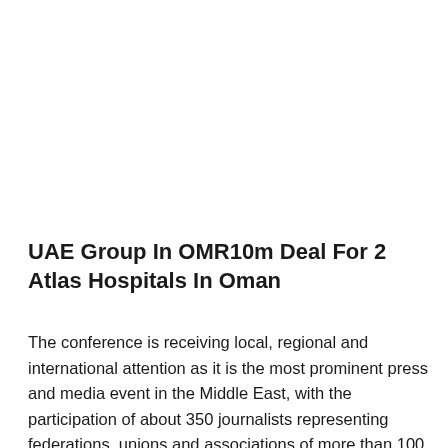UAE Group In OMR10m Deal For 2 Atlas Hospitals In Oman
The conference is receiving local, regional and international attention as it is the most prominent press and media event in the Middle East, with the participation of about 350 journalists representing federations, unions and associations of more than 100 countries from different